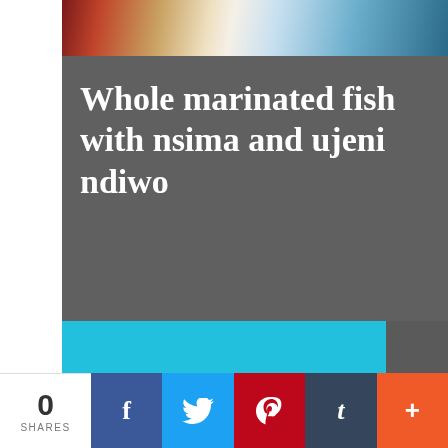[Figure (photo): Partial view of a plated fish dish on a white plate with garnishes, on a dark wooden surface]
Whole marinated fish with nsima and ujeni ndiwo
Whole Marinated Fish With Nsima And Ujeni Ndiwo Recipe Cooking Cooking Recipes Recipes
Twitter
0 SHARES